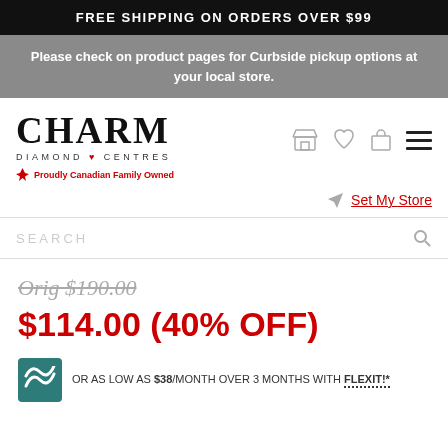FREE SHIPPING ON ORDERS OVER $99
Please check on product pages for Curbside pickup options at your local store.
[Figure (logo): Charm Diamond Centres logo with tagline Proudly Canadian Family Owned]
Set My Store
SEARCH
Orig $190.00
$114.00 (40% OFF)
OR AS LOW AS $38/MONTH OVER 3 MONTHS WITH FLEXIT!*